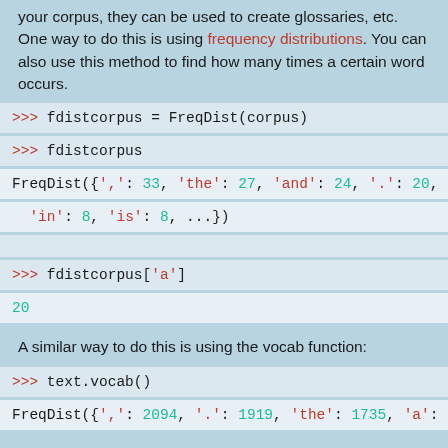your corpus, they can be used to create glossaries, etc. One way to do this is using frequency distributions. You can also use this method to find how many times a certain word occurs.
A similar way to do this is using the vocab function: